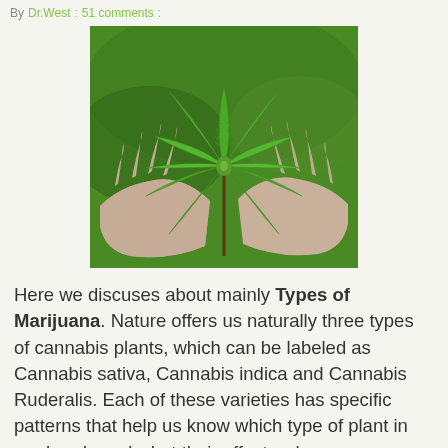By Dr.West : 51 comments :
[Figure (photo): Two hands cupping a large cannabis plant with multiple pointed green leaves, held against a blurred green outdoor background.]
Here we discuses about mainly Types of Marijuana. Nature offers us naturally three types of cannabis plants, which can be labeled as Cannabis sativa, Cannabis indica and Cannabis Ruderalis. Each of these varieties has specific patterns that help us know which type of plant in our hands and what their effects when consume.